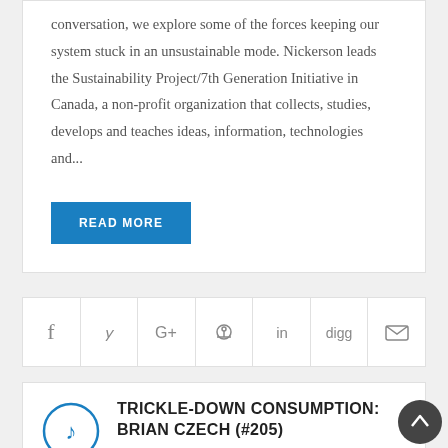conversation, we explore some of the forces keeping our system stuck in an unsustainable mode. Nickerson leads the Sustainability Project/7th Generation Initiative in Canada, a non-profit organization that collects, studies, develops and teaches ideas, information, technologies and...
READ MORE
[Figure (other): Social share bar with icons: Facebook (f), Twitter (bird), Google+, Pinterest (p), LinkedIn (in), Digg, Email (envelope)]
[Figure (other): Music note icon in a circle (podcast/audio indicator)]
TRICKLE-DOWN CONSUMPTION: BRIAN CZECH (#205)
Dave Gardner   March 21, 2017   Like